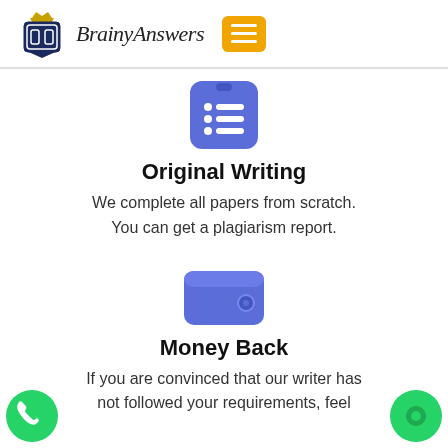[Figure (logo): BrainyAnswers logo with shield emblem and menu button]
[Figure (illustration): Blue rounded square icon with a list/document symbol]
Original Writing
We complete all papers from scratch. You can get a plagiarism report.
[Figure (illustration): Blue wallet icon]
Money Back
If you are convinced that our writer has not followed your requirements, feel
[Figure (illustration): Green WhatsApp phone button on bottom left]
[Figure (illustration): Green circle chat button on bottom right]